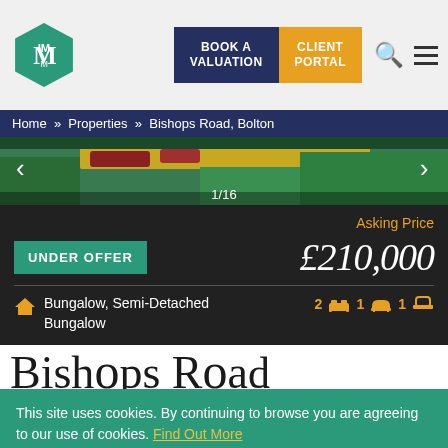BOOK A VALUATION | CLIENT PORTAL
Home » Properties » Bishops Road, Bolton
[Figure (photo): Property exterior photo strip showing garden/landscape, counter showing 1/16]
Asking Price
UNDER OFFER
£210,000
Bungalow, Semi-Detached Bungalow  2 [bed] 1 [sofa] 1 [bath]
This site uses cookies. By continuing to browse you are agreeing to our use of cookies. Find Out More
Allow all cookies